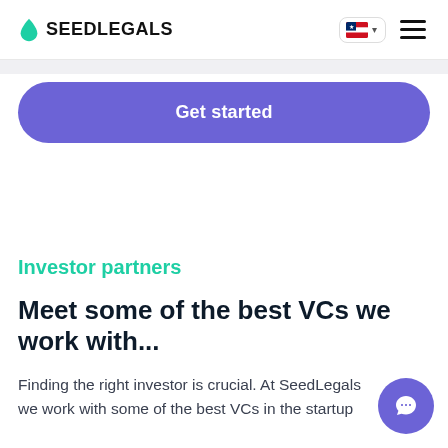SEEDLEGALS
Get started
Investor partners
Meet some of the best VCs we work with...
Finding the right investor is crucial. At SeedLegals we work with some of the best VCs in the startup